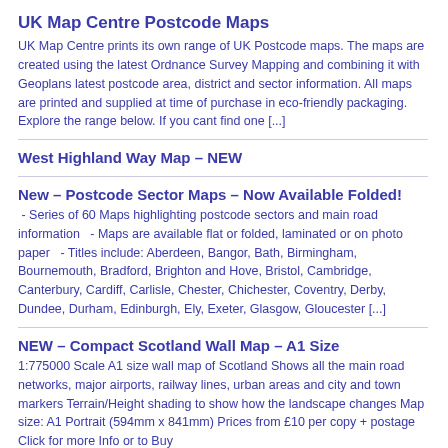UK Map Centre Postcode Maps
UK Map Centre prints its own range of UK Postcode maps. The maps are created using the latest Ordnance Survey Mapping and combining it with Geoplans latest postcode area, district and sector information. All maps are printed and supplied at time of purchase in eco-friendly packaging. Explore the range below. If you cant find one [...]
West Highland Way Map – NEW
New – Postcode Sector Maps – Now Available Folded!
- Series of 60 Maps highlighting postcode sectors and main road information   - Maps are available flat or folded, laminated or on photo paper   - Titles include: Aberdeen, Bangor, Bath, Birmingham, Bournemouth, Bradford, Brighton and Hove, Bristol, Cambridge, Canterbury, Cardiff, Carlisle, Chester, Chichester, Coventry, Derby, Dundee, Durham, Edinburgh, Ely, Exeter, Glasgow, Gloucester [...]
NEW – Compact Scotland Wall Map – A1 Size
1:775000 Scale A1 size wall map of Scotland Shows all the main road networks, major airports, railway lines, urban areas and city and town markers Terrain/Height shading to show how the landscape changes Map size: A1 Portrait (594mm x 841mm) Prices from £10 per copy + postage Click for more Info or to Buy